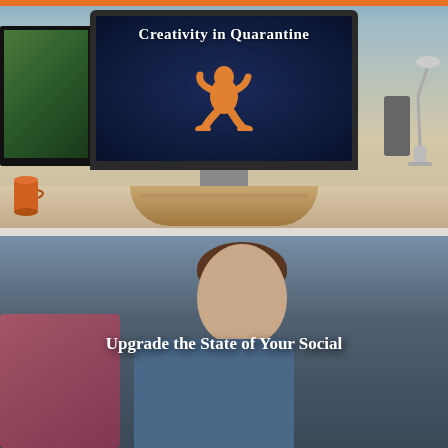[Figure (photo): Photo of a home desk setup with an LG monitor displaying 'Creativity in Quarantine' text with an orange Bigfoot/sasquatch silhouette on a dark blue screen. A wooden monitor stand, orange mug, speaker, and desk lamp are visible.]
Creativity in Quarantine
[Figure (photo): Photo of a young man with brown hair looking downward, wearing a blue shirt. The background is blurred with pink/red elements on the left side and a wall visible behind him.]
Upgrade the State of Your Social